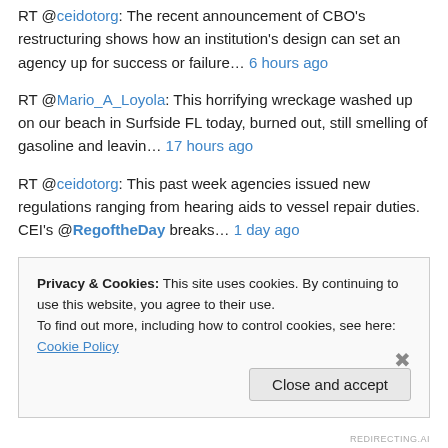RT @ceidotorg: The recent announcement of CBO's restructuring shows how an institution's design can set an agency up for success or failure… 6 hours ago
RT @Mario_A_Loyola: This horrifying wreckage washed up on our beach in Surfside FL today, burned out, still smelling of gasoline and leavin… 17 hours ago
RT @ceidotorg: This past week agencies issued new regulations ranging from hearing aids to vessel repair duties. CEI's @RegoftheDay breaks… 1 day ago
7 proposed regulations, 20 final regulations, 104 agency notices in today's 345-page Federal Register. 1 day ago
Privacy & Cookies: This site uses cookies. By continuing to use this website, you agree to their use. To find out more, including how to control cookies, see here: Cookie Policy
Close and accept